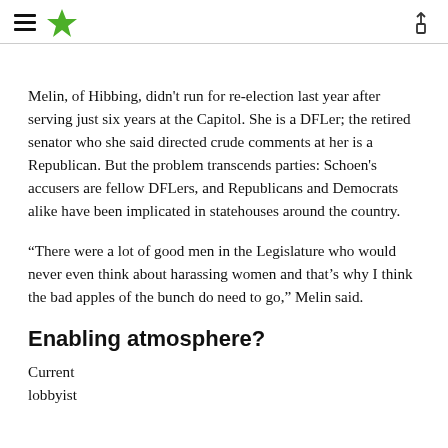[Star Tribune navigation header with hamburger menu, star logo, and share icon]
Melin, of Hibbing, didn't run for re-election last year after serving just six years at the Capitol. She is a DFLer; the retired senator who she said directed crude comments at her is a Republican. But the problem transcends parties: Schoen's accusers are fellow DFLers, and Republicans and Democrats alike have been implicated in statehouses around the country.
“There were a lot of good men in the Legislature who would never even think about harassing women and that’s why I think the bad apples of the bunch do need to go,” Melin said.
Enabling atmosphere?
Current lobbyist